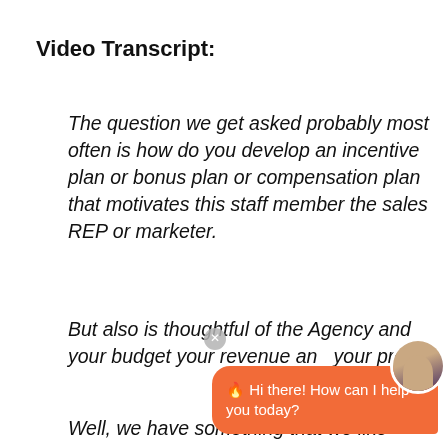Video Transcript:
The question we get asked probably most often is how do you develop an incentive plan or bonus plan or compensation plan that motivates this staff member the sales REP or marketer.
But also is thoughtful of the Agency and your budget your revenue and your profi
Well, we have something that we like